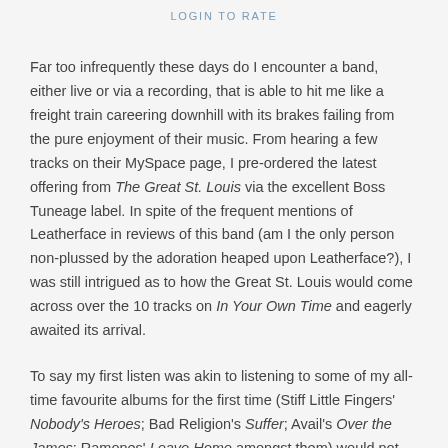LOGIN TO RATE
Far too infrequently these days do I encounter a band, either live or via a recording, that is able to hit me like a freight train careering downhill with its brakes failing from the pure enjoyment of their music. From hearing a few tracks on their MySpace page, I pre-ordered the latest offering from The Great St. Louis via the excellent Boss Tuneage label. In spite of the frequent mentions of Leatherface in reviews of this band (am I the only person non-plussed by the adoration heaped upon Leatherface?), I was still intrigued as to how the Great St. Louis would come across over the 10 tracks on In Your Own Time and eagerly awaited its arrival.
To say my first listen was akin to listening to some of my all-time favourite albums for the first time (Stiff Little Fingers' Nobody's Heroes; Bad Religion's Suffer; Avail's Over the James; Ramones' Leave Home amongst them) would not be overdoing the the praise